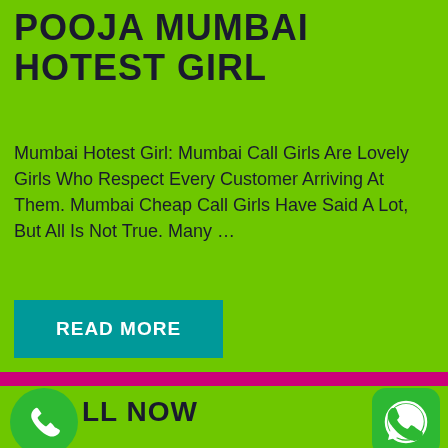POOJA MUMBAI HOTEST GIRL
Mumbai Hotest Girl: Mumbai Call Girls Are Lovely Girls Who Respect Every Customer Arriving At Them. Mumbai Cheap Call Girls Have Said A Lot, But All Is Not True. Many …
[Figure (other): Teal/cyan READ MORE button]
[Figure (other): Magenta/pink horizontal divider bar]
[Figure (other): Green phone call icon circle with white phone handset]
LL NOW
[Figure (other): WhatsApp icon green rounded square with white phone/chat logo]